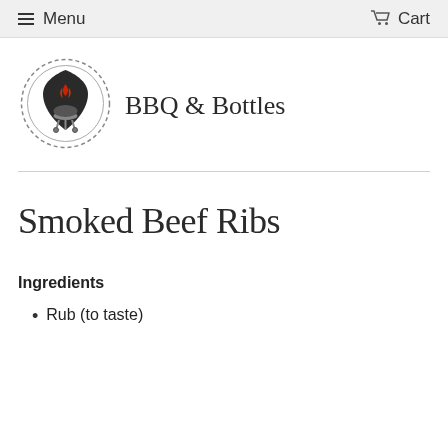Menu   Cart
[Figure (logo): BBQ & Bottles logo: circular badge with dashed border containing a dark shield shape with a BBQ grill and red flame icon]
BBQ & Bottles
Smoked Beef Ribs
Ingredients
Rub (to taste)